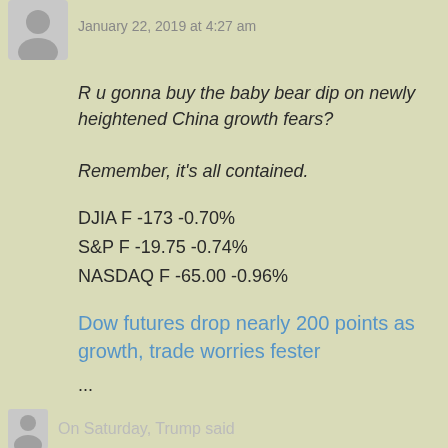[Figure (illustration): Generic user avatar icon (grey silhouette of a person)]
January 22, 2019 at 4:27 am
R u gonna buy the baby bear dip on newly heightened China growth fears?

Remember, it's all contained.
DJIA F -173 -0.70%
S&P F -19.75 -0.74%
NASDAQ F -65.00 -0.96%
Dow futures drop nearly 200 points as growth, trade worries fester
...
On Saturday, Trump said